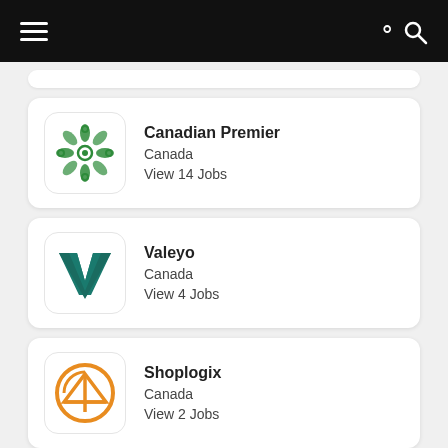Navigation bar with hamburger menu and search icon
Canadian Premier — Canada — View 14 Jobs
Valeyo — Canada — View 4 Jobs
Shoplogix — Canada — View 2 Jobs